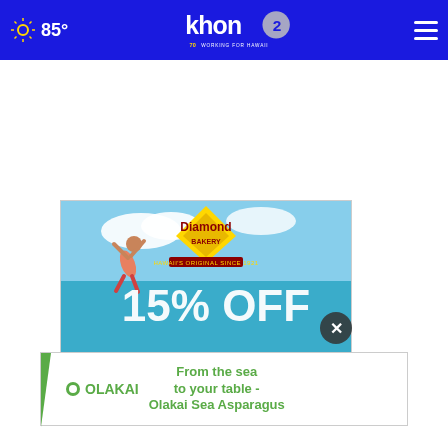85° KHON2 – Working for Hawaii
[Figure (screenshot): White content/ad placeholder area]
[Figure (illustration): Diamond Bakery ad showing 15% OFF with ocean background and jumping person]
[Figure (logo): Olakai ad banner: From the sea to your table - Olakai Sea Asparagus]